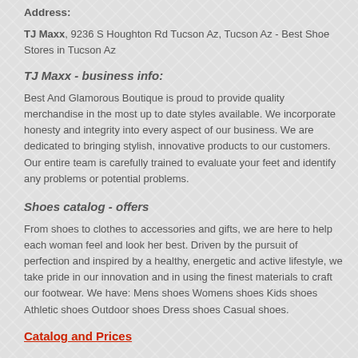Address:
TJ Maxx, 9236 S Houghton Rd Tucson Az, Tucson Az - Best Shoe Stores in Tucson Az
TJ Maxx - business info:
Best And Glamorous Boutique is proud to provide quality merchandise in the most up to date styles available. We incorporate honesty and integrity into every aspect of our business. We are dedicated to bringing stylish, innovative products to our customers. Our entire team is carefully trained to evaluate your feet and identify any problems or potential problems.
Shoes catalog - offers
From shoes to clothes to accessories and gifts, we are here to help each woman feel and look her best. Driven by the pursuit of perfection and inspired by a healthy, energetic and active lifestyle, we take pride in our innovation and in using the finest materials to craft our footwear. We have: Mens shoes Womens shoes Kids shoes Athletic shoes Outdoor shoes Dress shoes Casual shoes.
Catalog and Prices